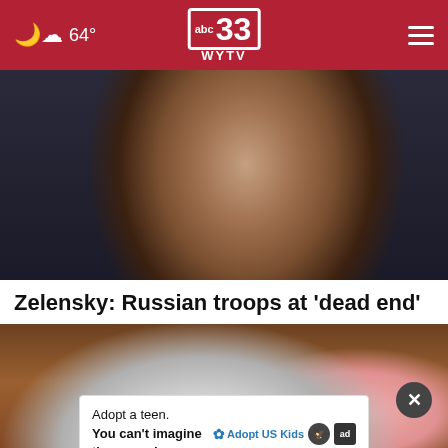64° abc 33 WYTV
[Figure (photo): Close-up photo of a man (Zelensky) in dark clothing, resting his chin on his hand in a contemplative pose, dark blurred background]
Zelensky: Russian troops at 'dead end'
[Figure (photo): Photo of white and pink hats on a wooden surface]
Adopt a teen. You can't imagine the reward.